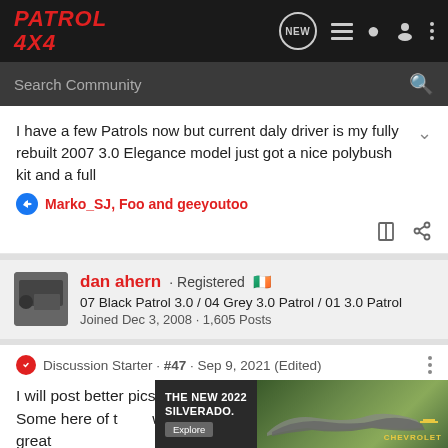PATROL 4X4
Search Community
I have a few Patrols now but current daly driver is my fully rebuilt 2007 3.0 Elegance model just got a nice polybush kit and a full
Marko_SJ, Foo and geeyoutoo
dan ahern · Registered
07 Black Patrol 3.0 / 04 Grey 3.0 Patrol / 01 3.0 Patrol
Joined Dec 3, 2008 · 1,605 Posts
Discussion Starter · #47 · Sep 9, 2021 (Edited)
I will post better pics of the latest projects when I can 😊🙂 Some here of t…w too! I just finis…e great
[Figure (screenshot): Advertisement for The New 2022 Silverado by Chevrolet, showing a dark truck on a green background with Explore button]